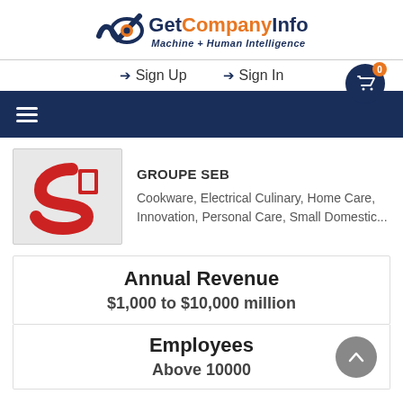[Figure (logo): GetCompanyInfo logo with checkmark/eye icon, orange and dark blue text, tagline Machine + Human Intelligence]
Sign Up   Sign In
[Figure (logo): GROUPE SEB company logo - red S and D shapes on grey background]
GROUPE SEB
Cookware, Electrical Culinary, Home Care, Innovation, Personal Care, Small Domestic...
Annual Revenue
$1,000 to $10,000 million
Employees
Above 10000